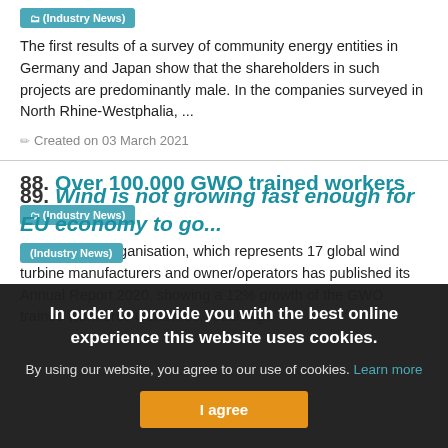The first results of a survey of community energy entities in Germany and Japan show that the shareholders in such projects are predominantly male. In the companies surveyed in North Rhine-Westphalia, ...
Created on 03 March 2021
88. Over 100.000 GWO trained workers
(Industry News)
Global Wind Organisation, which represents 17 global wind turbine manufacturers and owner/operators has published its Annual Report 2020, showing a 12% growth of the GWO trained workforce worldwide, reaching...
89. Wind is not growing fast enough for EU economy to go...
(Industry News)
In order to provide you with the best online experience this website uses cookies.
By using our website, you agree to our use of cookies. Learn more
I agree